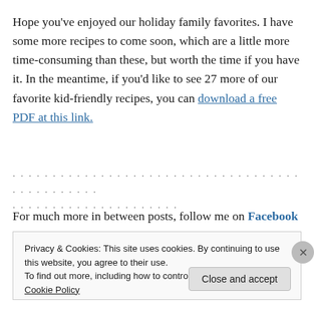Hope you've enjoyed our holiday family favorites. I have some more recipes to come soon, which are a little more time-consuming than these, but worth the time if you have it. In the meantime, if you'd like to see 27 more of our favorite kid-friendly recipes, you can download a free PDF at this link.
. . . . . . . . . . . . . . . . . . . . . . . . . . . . . . . . . . . . . . . . . . . . . . . . . . . . . . . . . . . . . . . . . . . . . . .
For much more in between posts, follow me on Facebook
Privacy & Cookies: This site uses cookies. By continuing to use this website, you agree to their use.
To find out more, including how to control cookies, see here: Cookie Policy
Close and accept